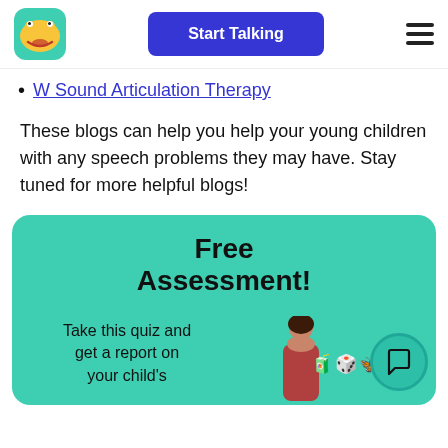Start Talking
W Sound Articulation Therapy
These blogs can help you help your young children with any speech problems they may have. Stay tuned for more helpful blogs!
Free Assessment!
Take this quiz and get a report on your child's